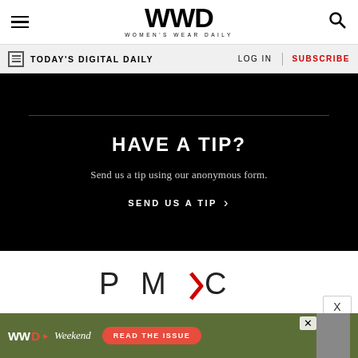WWD — Women's Wear Daily
TODAY'S DIGITAL DAILY | LOG IN | SUBSCRIBE
HAVE A TIP?
Send us a tip using our anonymous form.
SEND US A TIP ›
[Figure (logo): PMC logo — Penske Media Corporation wordmark in dark gray with a red chevron accent]
[Figure (screenshot): WWD Weekend ad banner with 'READ THE ISSUE' button on olive green background]